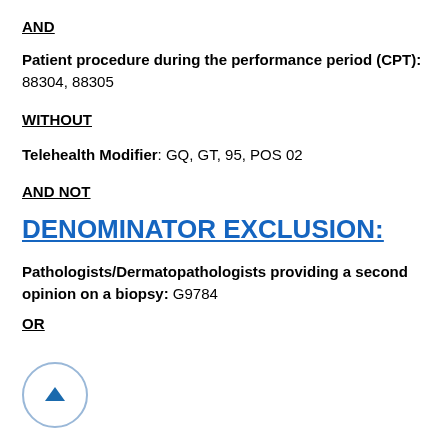AND
Patient procedure during the performance period (CPT): 88304, 88305
WITHOUT
Telehealth Modifier: GQ, GT, 95, POS 02
AND NOT
DENOMINATOR EXCLUSION:
Pathologists/Dermatopathologists providing a second opinion on a biopsy: G9784
OR